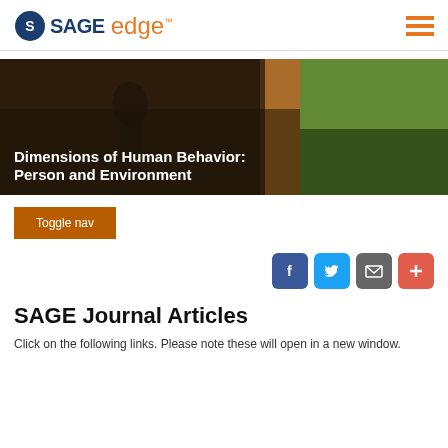SAGE edge
[Figure (photo): Banner image showing people hiking in nature on the left and a crowd scene on the right, with text overlay 'Dimensions of Human Behavior: Person and Environment']
Dimensions of Human Behavior: Person and Environment
Toggle nav
[Figure (infographic): Social sharing buttons: Facebook (blue), Twitter (light blue), Email (gray), Plus/Add (red-orange)]
SAGE Journal Articles
Click on the following links. Please note these will open in a new window.